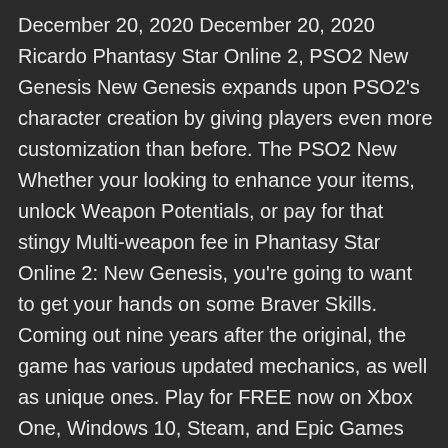December 20, 2020 December 20, 2020 Ricardo Phantasy Star Online 2, PSO2 New Genesis New Genesis expands upon PSO2's character creation by giving players even more customization than before. The PSO2 New Whether your looking to enhance your items, unlock Weapon Potentials, or pay for that stingy Multi-weapon fee in Phantasy Star Online 2: New Genesis, you're going to want to get your hands on some Braver Skills. Coming out nine years after the original, the game has various updated mechanics, as well as unique ones. Play for FREE now on Xbox One, Windows 10, Steam, and Epic Games Store. org; Skill Simulator (PSO2) Skill Simulator (NGS) Affix Simulator (PSO2) Damage Calculator (PSO2) Alternative Damage Calculator (PSO2) Daily Order Forecast (PSO2) DA: 4 PA: 73 MOZ Rank: 35 . Builds Easy-online-courses. 6460 110588 Redex Gameplay This section is an excellent place